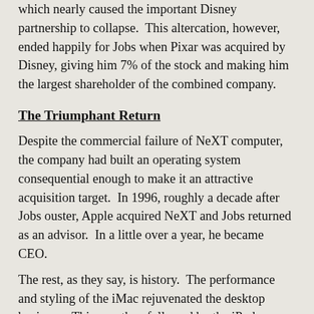which nearly caused the important Disney partnership to collapse.  This altercation, however, ended happily for Jobs when Pixar was acquired by Disney, giving him 7% of the stock and making him the largest shareholder of the combined company.
The Triumphant Return
Despite the commercial failure of NeXT computer, the company had built an operating system consequential enough to make it an attractive acquisition target.  In 1996, roughly a decade after Jobs ouster, Apple acquired NeXT and Jobs returned as an advisor.  In a little over a year, he became CEO.
The rest, as they say, is history.  The performance and styling of the iMac rejuvenated the desktop business.  This was then followed by the iPod, iPhone and iPad, all of which redefined their categories.  Jobs today is